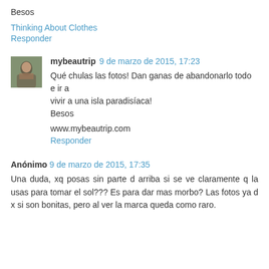Besos
Thinking About Clothes
Responder
mybeautrip 9 de marzo de 2015, 17:23
Qué chulas las fotos! Dan ganas de abandonarlo todo e ir a vivir a una isla paradisíaca!
Besos
www.mybeautrip.com
Responder
Anónimo 9 de marzo de 2015, 17:35
Una duda, xq posas sin parte d arriba si se ve claramente q la usas para tomar el sol??? Es para dar mas morbo? Las fotos ya d x si son bonitas, pero al ver la marca queda como raro.